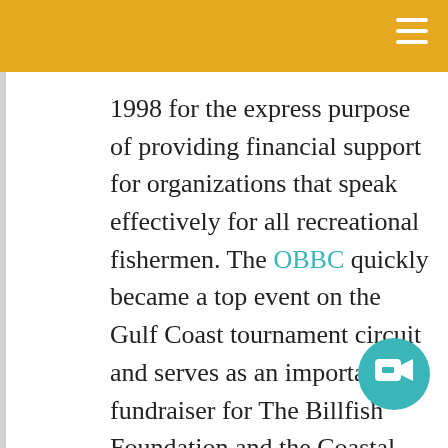1998 for the express purpose of providing financial support for organizations that speak effectively for all recreational fishermen. The OBBC quickly became a top event on the Gulf Coast tournament circuit and serves as an important fundraiser for The Billfish Foundation and the Coastal Conservation Association (CCA). In 2011, over $50,000 was donated to these organizations, bringing the total contributed over the history of the tournament to over $500,000.